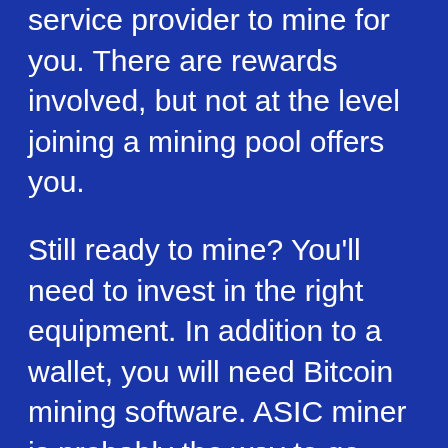service provider to mine for you. There are rewards involved, but not at the level joining a mining pool offers you.
Still ready to mine? You'll need to invest in the right equipment. In addition to a wallet, you will need Bitcoin mining software. ASIC miner is probably the way to go. While you may read about GPU mining software, it's not